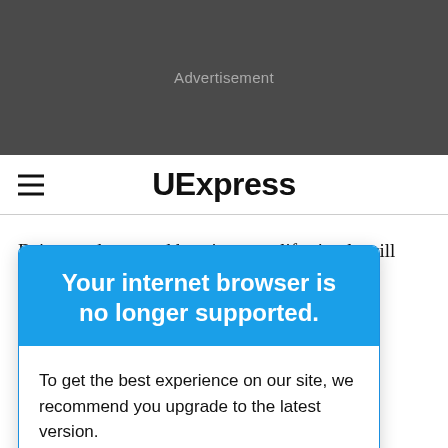[Figure (other): Dark gray advertisement banner with 'Advertisement' label]
≡  UExpress
Being moderate and keeping your life simple will help and question al growth and with people and nance is on the
Your internet browser is no longer supported.
To get the best experience on our site, we recommend you upgrade to the latest version.